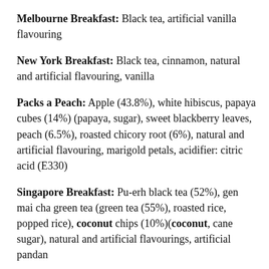Melbourne Breakfast: Black tea, artificial vanilla flavouring
New York Breakfast: Black tea, cinnamon, natural and artificial flavouring, vanilla
Packs a Peach: Apple (43.8%), white hibiscus, papaya cubes (14%) (papaya, sugar), sweet blackberry leaves, peach (6.5%), roasted chicory root (6%), natural and artificial flavouring, marigold petals, acidifier: citric acid (E330)
Singapore Breakfast: Pu-erh black tea (52%), gen mai cha green tea (green tea (55%), roasted rice, popped rice), coconut chips (10%)(coconut, cane sugar), natural and artificial flavourings, artificial pandan